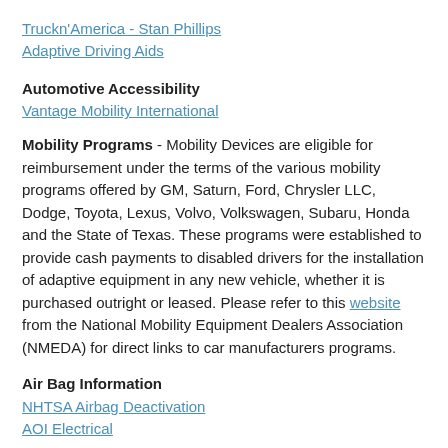Truckn'America - Stan Phillips
Adaptive Driving Aids
Automotive Accessibility
Vantage Mobility International
Mobility Programs - Mobility Devices are eligible for reimbursement under the terms of the various mobility programs offered by GM, Saturn, Ford, Chrysler LLC, Dodge, Toyota, Lexus, Volvo, Volkswagen, Subaru, Honda and the State of Texas. These programs were established to provide cash payments to disabled drivers for the installation of adaptive equipment in any new vehicle, whether it is purchased outright or leased. Please refer to this website from the National Mobility Equipment Dealers Association (NMEDA) for direct links to car manufacturers programs.
Air Bag Information
NHTSA Airbag Deactivation
AOI Electrical